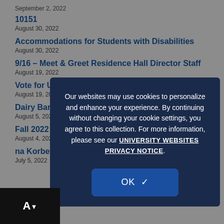September 2, 2022
10151
August 30, 2022
Accommodations for Students with Disabilities
August 30, 2022
9/16 – Meet & Greet Residence Hall Director Staff
August 19, 2022
Vote for UConn Dining
August 19, 2022
Dairy Bar Express
August 5, 2022
Fall 2022 Residential Housing Information
August 4, 2022
na Korbel Retirement
July 5, 2022
Our websites may use cookies to personalize and enhance your experience. By continuing without changing your cookie settings, you agree to this collection. For more information, please see our UNIVERSITY WEBSITES PRIVACY NOTICE.
OK